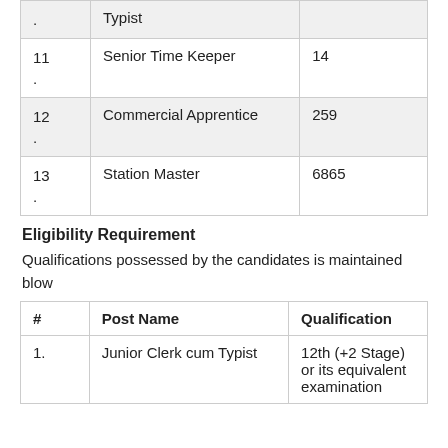| # | Post Name | Value |
| --- | --- | --- |
| . | Typist |  |
| 11
. | Senior Time Keeper | 14 |
| 12
. | Commercial Apprentice | 259 |
| 13
. | Station Master | 6865 |
Eligibility Requirement
Qualifications possessed by the candidates is maintained blow
| # | Post Name | Qualification |
| --- | --- | --- |
| 1. | Junior Clerk cum Typist | 12th (+2 Stage) or its equivalent examination |